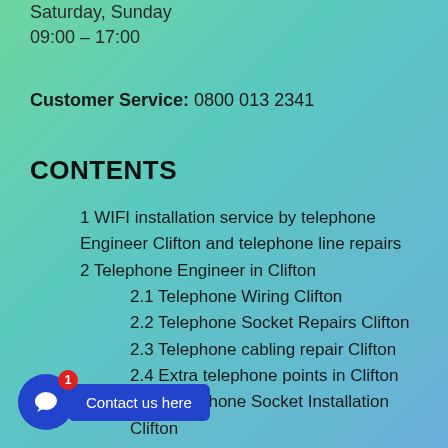Saturday, Sunday
09:00 – 17:00
Customer Service: 0800 013 2341
CONTENTS
1 WIFI installation service by telephone
Engineer Clifton and telephone line repairs
2 Telephone Engineer in Clifton
2.1 Telephone Wiring Clifton
2.2 Telephone Socket Repairs Clifton
2.3 Telephone cabling repair Clifton
2.4 Extra telephone points in Clifton
2.5 New Phone Socket Installation Clifton
2.6 Frequently Asked Telecom Questions